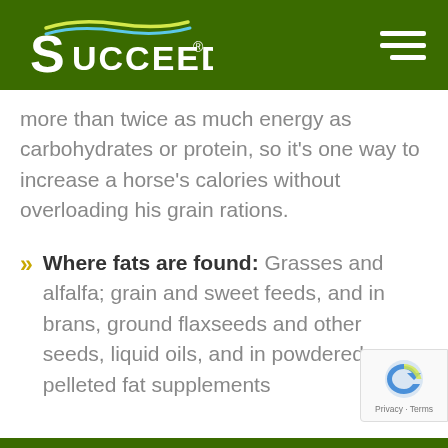Succeed (logo)
more than twice as much energy as carbohydrates or protein, so it's one way to increase a horse's calories without overloading his grain rations.
Where fats are found: Grasses and alfalfa; grain and sweet feeds, and in brans, ground flaxseeds and other seeds, liquid oils, and in powdered or pelleted fat supplements